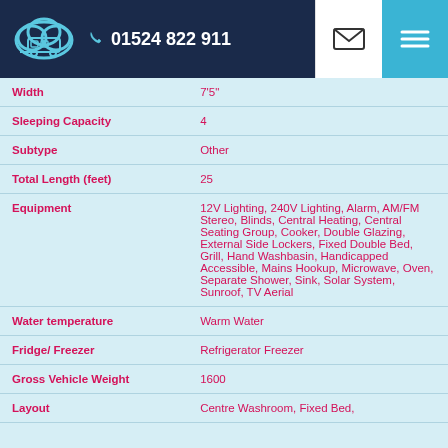01524 822 911
| Property | Value |
| --- | --- |
| Width | 7'5" |
| Sleeping Capacity | 4 |
| Subtype | Other |
| Total Length (feet) | 25 |
| Equipment | 12V Lighting, 240V Lighting, Alarm, AM/FM Stereo, Blinds, Central Heating, Central Seating Group, Cooker, Double Glazing, External Side Lockers, Fixed Double Bed, Grill, Hand Washbasin, Handicapped Accessible, Mains Hookup, Microwave, Oven, Separate Shower, Sink, Solar System, Sunroof, TV Aerial |
| Water temperature | Warm Water |
| Fridge/ Freezer | Refrigerator Freezer |
| Gross Vehicle Weight | 1600 |
| Layout | Centre Washroom, Fixed Bed, |